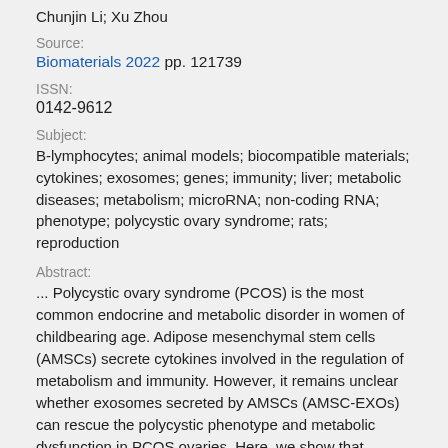Chunjin Li; Xu Zhou
Source:
Biomaterials 2022 pp. 121739
ISSN:
0142-9612
Subject:
B-lymphocytes; animal models; biocompatible materials; cytokines; exosomes; genes; immunity; liver; metabolic diseases; metabolism; microRNA; non-coding RNA; phenotype; polycystic ovary syndrome; rats; reproduction
Abstract:
... Polycystic ovary syndrome (PCOS) is the most common endocrine and metabolic disorder in women of childbearing age. Adipose mesenchymal stem cells (AMSCs) secrete cytokines involved in the regulation of metabolism and immunity. However, it remains unclear whether exosomes secreted by AMSCs (AMSC-EXOs) can rescue the polycystic phenotype and metabolic dysfunction in PCOS ovaries. Here, we show that ...